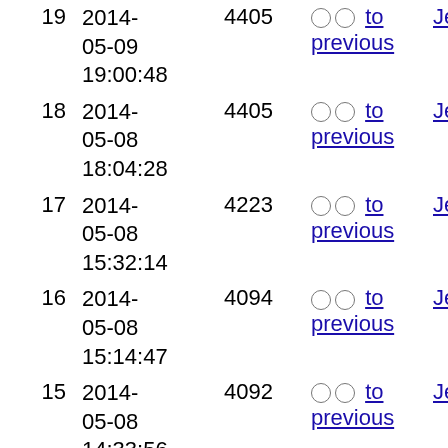| # | Date | Size | Radio | User |
| --- | --- | --- | --- | --- |
| 19 | 2014-05-09 19:00:48 | 4405 | ○ ○ to previous | JensKorte |
| 18 | 2014-05-08 18:04:28 | 4405 | ○ ○ to previous | JensKorte |
| 17 | 2014-05-08 15:32:14 | 4223 | ○ ○ to previous | JensKorte |
| 16 | 2014-05-08 15:14:47 | 4094 | ○ ○ to previous | JensKorte |
| 15 | 2014-05-08 14:33:56 | 4092 | ○ ○ to previous | JensKorte |
| 14 | 2014-05-08 12:59:51 | 4066 | ○ ○ to previous | ?matteo f |
| 13 | 2014- | 3977 | ○ ○ to | ?matteo f |